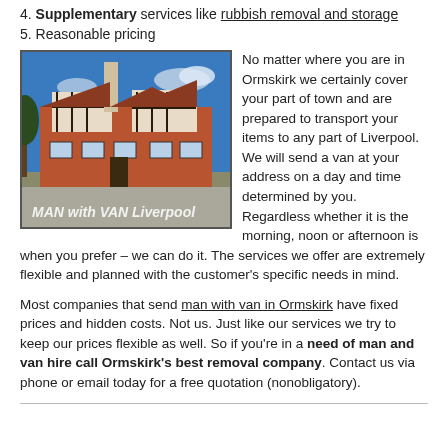4. Supplementary services like rubbish removal and storage
5. Reasonable pricing
[Figure (photo): Photograph of a large Tudor-style building with red brick and timber framing under a blue sky, watermarked 'MAN with VAN Liverpool']
No matter where you are in Ormskirk we certainly cover your part of town and are prepared to transport your items to any part of Liverpool. We will send a van at your address on a day and time determined by you. Regardless whether it is the morning, noon or afternoon is when you prefer – we can do it. The services we offer are extremely flexible and planned with the customer's specific needs in mind.
Most companies that send man with van in Ormskirk have fixed prices and hidden costs. Not us. Just like our services we try to keep our prices flexible as well. So if you're in a need of man and van hire call Ormskirk's best removal company. Contact us via phone or email today for a free quotation (nonobligatory).